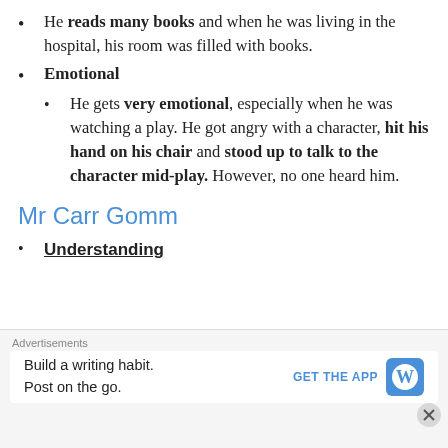He reads many books and when he was living in the hospital, his room was filled with books.
Emotional
He gets very emotional, especially when he was watching a play. He got angry with a character, hit his hand on his chair and stood up to talk to the character mid-play. However, no one heard him.
Mr Carr Gomm
Understanding
Advertisements
Build a writing habit. Post on the go.
GET THE APP